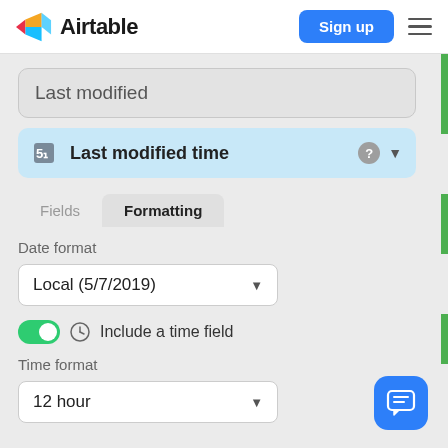[Figure (logo): Airtable logo with colorful 3D diamond icon and 'Airtable' wordmark]
Sign up
Last modified
Last modified time
Fields
Formatting
Date format
Local (5/7/2019)
Include a time field
Time format
12 hour